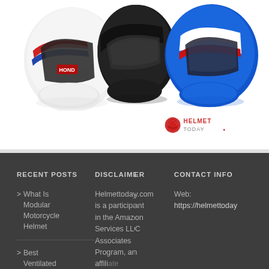[Figure (photo): Three motorcycle helmets displayed side by side against a white background. Left helmet is white with Honda branding and red/blue graphics, middle helmet is matte black adventure style, right helmet is blue/white/red with graphics.]
[Figure (logo): Helmet Today website logo in red and gray text reading 'HELMET TODAY']
RECENT POSTS
DISCLAIMER
CONTACT INFO
What Is Modular Motorcycle Helmet
Best Ventilated
Helmettoday.com is a participant in the Amazon Services LLC Associates Program, an affiliate
Web: https://helmettoday